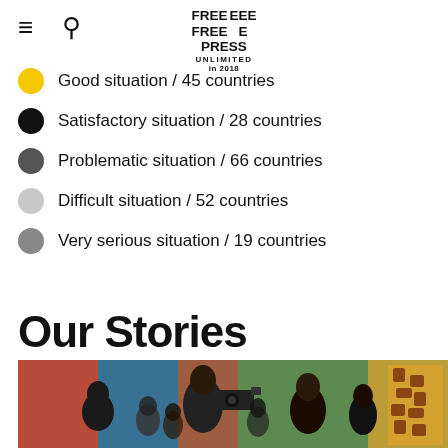≡ 🔍 FREE PRESS UNLIMITED in 2018
Good situation / 45 countries
Satisfactory situation / 28 countries
Problematic situation / 66 countries
Difficult situation / 52 countries
Very serious situation / 19 countries
Our Stories
[Figure (photo): Photo of journalists or cameramen at an outdoor event with colorful decorations]